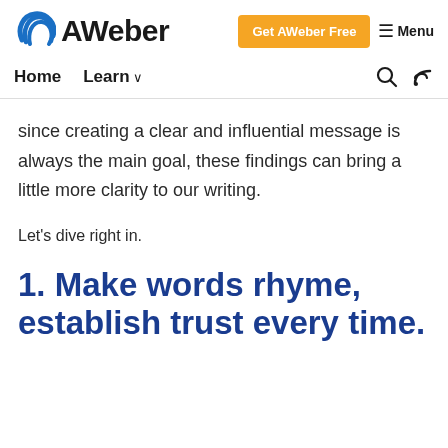AWeber — Get AWeber Free  ≡ Menu
Home  Learn ∨
since creating a clear and influential message is always the main goal, these findings can bring a little more clarity to our writing.
Let's dive right in.
1. Make words rhyme, establish trust every time.